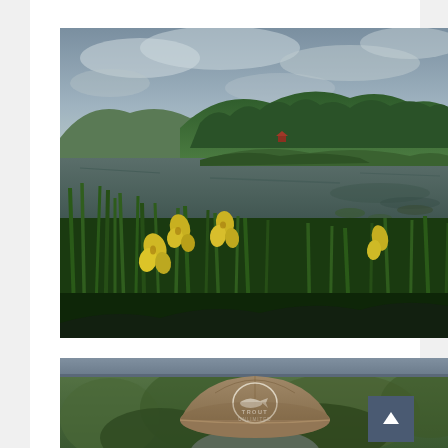[Figure (photo): Outdoor nature photograph showing yellow iris flowers in the foreground with green tall grass/reeds growing beside a calm river or pond. In the background are forested green hills and an overcast cloudy sky. A small red building is faintly visible across the water.]
[Figure (photo): Partially visible photograph showing the back of a person wearing a tan/khaki baseball cap with 'Trout Unlimited' logo and text on it, with blurred green foliage in the background. A blue/grey awning or canopy is visible at the top of the frame.]